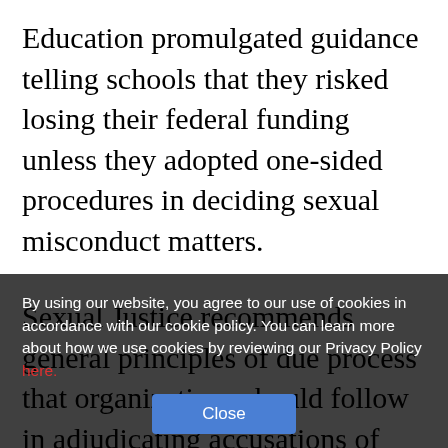Education promulgated guidance telling schools that they risked losing their federal funding unless they adopted one-sided procedures in deciding sexual misconduct matters.
Sexual Justice recommends general principles of due process that organizations should follow in adjudicating accusations of sexual misconduct. Rules should be clear and understandable. The accused should be informed of the allegation. All parties should be told how the process will work. Each party should be given the opportunity to tell his or her side of the story and to allow questions of the other. The complainant should bear the burden of proving the allegation, rather than the accused of disproving it. An
By using our website, you agree to our use of cookies in accordance with our cookie policy. You can learn more about how we use cookies by reviewing our Privacy Policy here.